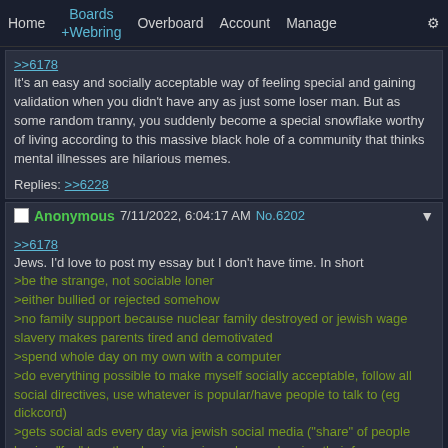Home | Boards | +Webring | Overboard | Account | Manage | Settings
>>6178
It's an easy and socially acceptable way of feeling special and gaining validation when you didn't have any as just some loser man. But as some random tranny, you suddenly become a special snowflake worthy of living according to this massive black hole of a community that thinks mental illnesses are hilarious memes.

Replies: >>6228
Anonymous 7/11/2022, 6:04:17 AM No.6202
>>6178
Jews. I'd love to post my essay but I don't have time. In short
>be the strange, not sociable loner
>either bullied or rejected somehow
>no family support because nuclear family destroyed or jewish wage slavery makes parents tired and demotivated
>spend whole day on my own with a computer
>do everything possible to make myself socially acceptable, follow all social directives, use whatever is popular/have people to talk to (eg dickcord)
>gets social ads every day via jewish social media ("share" of people having "fun" together, having orgies, whores showing their faces around). Just like any other ads, telling me how could have it
>thinks it is not normal to have no friends or gf